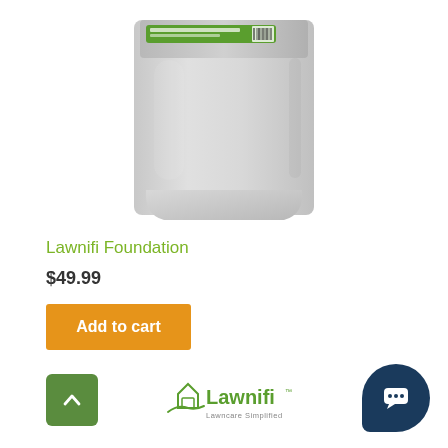[Figure (photo): A white/light gray bag of Lawnifi Foundation fertilizer product, partially cropped at top, with a green label and barcode visible at the top of the bag.]
Lawnifi Foundation
$49.99
Add to cart
[Figure (logo): Lawnifi logo with a house/lawn icon and text 'Lawnifi Lawncare Simplified']
[Figure (other): Scroll-to-top button with upward arrow, green background]
[Figure (other): Chat button, dark navy blue rounded shape with chat bubble icon]